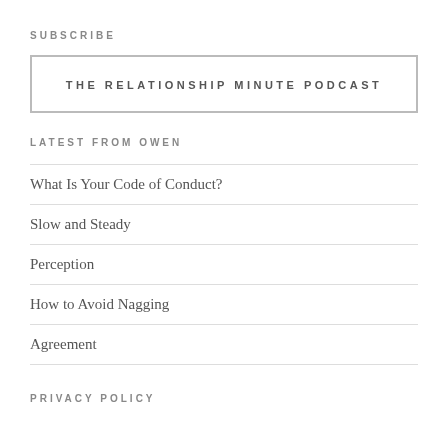SUBSCRIBE
THE RELATIONSHIP MINUTE PODCAST
LATEST FROM OWEN
What Is Your Code of Conduct?
Slow and Steady
Perception
How to Avoid Nagging
Agreement
PRIVACY POLICY